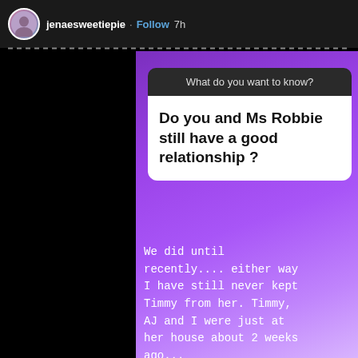jenaesweetiepie · Follow 7h
What do you want to know?
Do you and Ms Robbie still have a good relationship ?
We did until recently.... either way I have still never kept Timmy from her. Timmy, AJ and I were just at her house about 2 weeks ago...